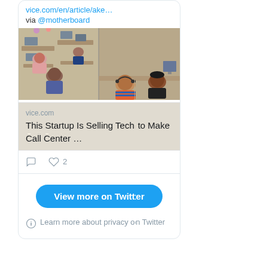vice.com/en/article/ake…
via @motherboard
[Figure (photo): Call center office with workers at computers, split into two panels showing different angles of the workspace]
vice.com
This Startup Is Selling Tech to Make Call Center …
comment icon, heart icon with count 2
View more on Twitter
Learn more about privacy on Twitter